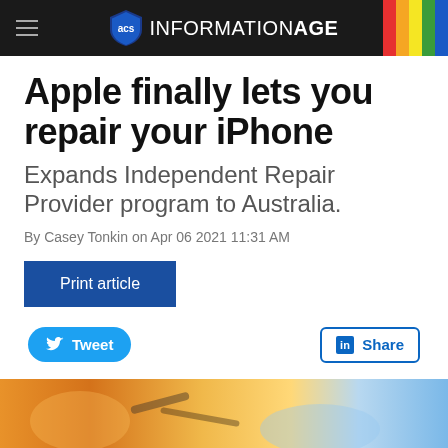ACS INFORMATIONAGE
Apple finally lets you repair your iPhone
Expands Independent Repair Provider program to Australia.
By Casey Tonkin on Apr 06 2021 11:31 AM
Print article
Tweet
Share
[Figure (photo): Photo of iPhone repair tools on a workbench with warm orange and blue tones]